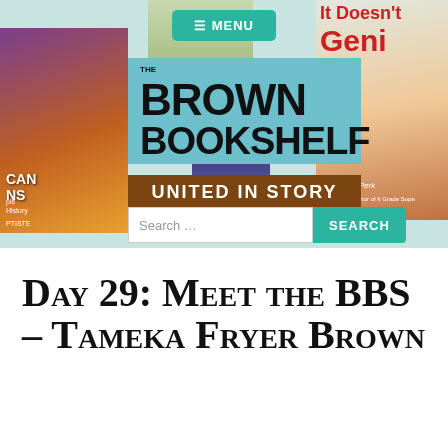[Figure (screenshot): The Brown Bookshelf website header banner with book covers in background, menu button, logo, 'United in Story' tagline, and search bar]
Day 29: Meet the BBS – Tameka Fryer Brown